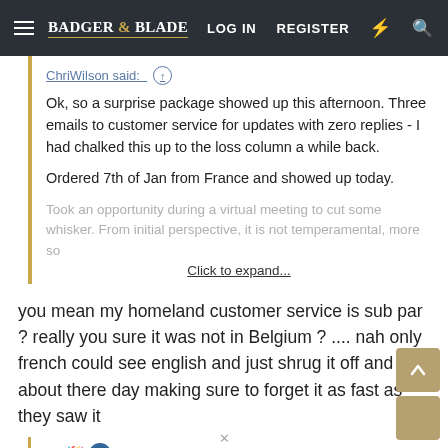Badger & Blade | LOG IN  REGISTER
ChriWilson said: ↑

Ok, so a surprise package showed up this afternoon. Three emails to customer service for updates with zero replies - I had chalked this up to the loss column a while back.

Ordered 7th of Jan from France and showed up today.

Took an opportunity during a virtual meeting to cut some whisker. From initial perspective, it is not temperamental, more so

Click to expand...
you mean my homeland customer service is sub par ? really you sure it was not in Belgium ? .... nah only french could see english and just shrug it off and go about there day making sure to forget it as fast as they saw it
🎉🔵 B  R  A  D. bubo  strix. Balin and 6 others